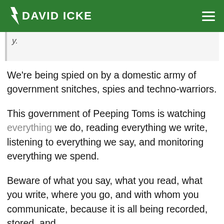DAVID ICKE
We’re being spied on by a domestic army of government snitches, spies and techno-warriors.
This government of Peeping Toms is watching everything we do, reading everything we write, listening to everything we say, and monitoring everything we spend.
Beware of what you say, what you read, what you write, where you go, and with whom you communicate, because it is all being recorded, stored, and